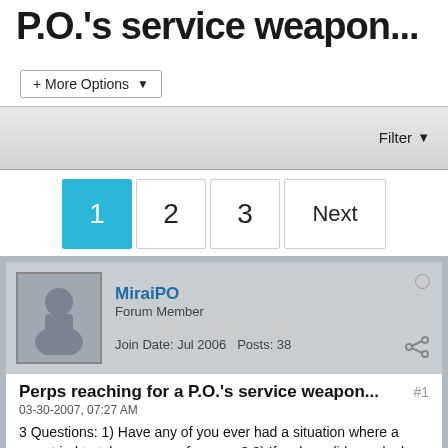P.O.'s service weapon...
+ More Options
Filter
1  2  3  Next
MiraiPO
Forum Member
Join Date: Jul 2006  Posts: 38
Perps reaching for a P.O.'s service weapon...
03-30-2007, 07:27 AM
3 Questions: 1) Have any of you ever had a situation where a perp tried to take your gun from you? 2) If so how did you deal with it? 3) Is shooting someone that tries to take your weapon from you within your police...